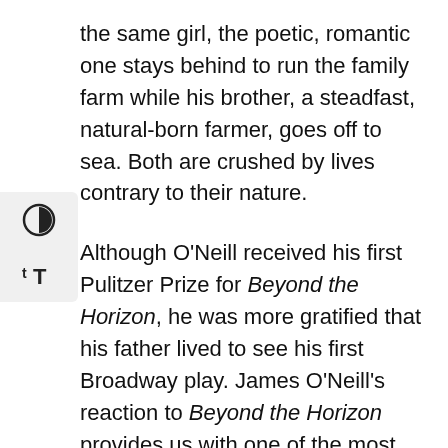the same girl, the poetic, romantic one stays behind to run the family farm while his brother, a steadfast, natural-born farmer, goes off to sea. Both are crushed by lives contrary to their nature.
Although O'Neill received his first Pulitzer Prize for Beyond the Horizon, he was more gratified that his father lived to see his first Broadway play. James O'Neill's reaction to Beyond the Horizon provides us with one of the most telling remarks in all of American theater. After James told Eugene how proud he was of him, James said, “It’s all right, if that’s what you want to do, but people come to the theater to forget about their troubles, not to be